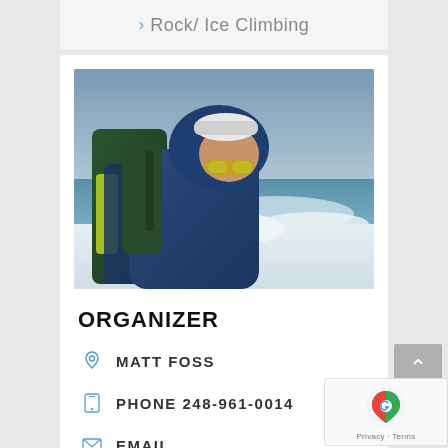> Rock/ Ice Climbing
[Figure (photo): Person wearing blue hooded jacket, goggles on head, backpack, standing near ocean/snowy shore]
ORGANIZER
MATT FOSS
PHONE 248-961-0014
EMAIL
matt@projectforty.org
WEBSITE